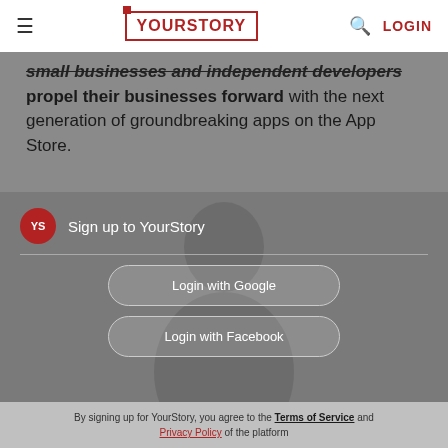YourStory | LOGIN
small businesses and independent developers propel their businesses forward with the next generation of groundbreaking apps on the App Store.
Sign up to YourStory
Login with Google
Login with Facebook
By signing up for YourStory, you agree to the Terms of Service and Privacy Policy of the platform